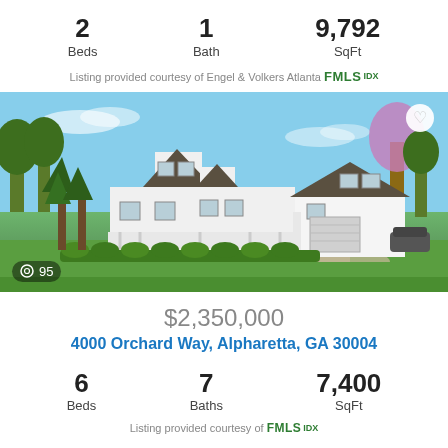2 Beds   1 Bath   9,792 SqFt
Listing provided courtesy of Engel & Volkers Atlanta FMLS IDX
[Figure (photo): Exterior photo of a large white farmhouse-style home with multiple gables, a covered front porch, attached garage, set on a green lawn with landscaped hedges and trees under a blue sky. Photo counter shows 95 photos.]
$2,350,000
4000 Orchard Way, Alpharetta, GA 30004
6 Beds   7 Baths   7,400 SqFt
Listing provided courtesy of FMLS IDX